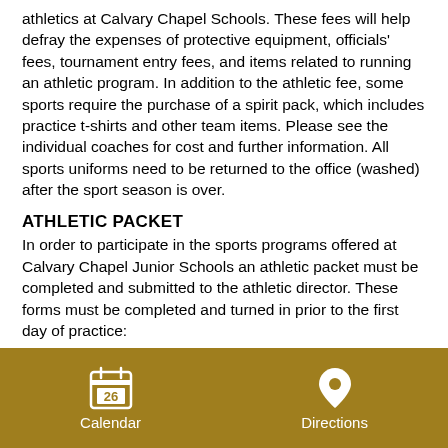athletics at Calvary Chapel Schools. These fees will help defray the expenses of protective equipment, officials' fees, tournament entry fees, and items related to running an athletic program. In addition to the athletic fee, some sports require the purchase of a spirit pack, which includes practice t-shirts and other team items. Please see the individual coaches for cost and further information. All sports uniforms need to be returned to the office (washed) after the sport season is over.
ATHLETIC PACKET
In order to participate in the sports programs offered at Calvary Chapel Junior Schools an athletic packet must be completed and submitted to the athletic director. These forms must be completed and turned in prior to the first day of practice:
Participation and Medical Consent Form
CCS Athletic Contract
LEAVING CLASS FOR ATHLETIC EVENTS
When students must leave early from a class for an athletic
Calendar    Directions